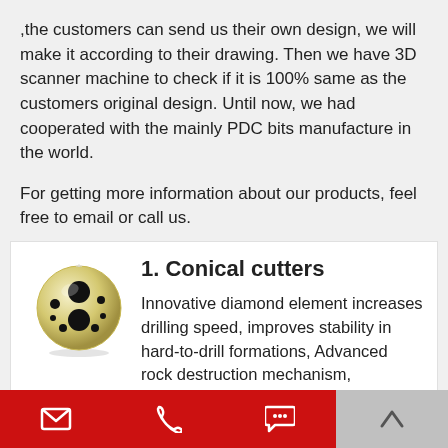,the customers can send us their own design, we will make it according to their drawing. Then we have 3D scanner machine to check if it is 100% same as the customers original design. Until now, we had cooperated with the mainly PDC bits manufacture in the world.
For getting more information about our products, feel free to email or call us.
1. Conical cutters
[Figure (illustration): A spherical conical cutter with cream/gold coloring and two large black dots (diamond elements) on its surface, plus smaller dots visible around it.]
Innovative diamond element increases drilling speed, improves stability in hard-to-drill formations, Advanced rock destruction mechanism, Enhanced bit
[Figure (other): Bottom toolbar with red section containing email icon, phone icon, and chat bubble icon; gray section with upward chevron icon.]